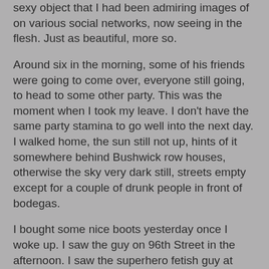sexy object that I had been admiring images of on various social networks, now seeing in the flesh. Just as beautiful, more so.
Around six in the morning, some of his friends were going to come over, everyone still going, to head to some other party. This was the moment when I took my leave. I don't have the same party stamina to go well into the next day. I walked home, the sun still not up, hints of it somewhere behind Bushwick row houses, otherwise the sky very dark still, streets empty except for a couple of drunk people in front of bodegas.
I bought some nice boots yesterday once I woke up. I saw the guy on 96th Street in the afternoon. I saw the superhero fetish guy at night. I drank a vodka-tonic afterwards and argued for Louis C.K's place within the Jewish comedic tradition despite his not being Jewish. I was tipsy already, fevered talk coming easily, hands gesticulating. I went to a house party in the East Village. There were cute men there, the city full of them these days. Maybe people seem sexier in the cold. Everyone's sex drive is still having lingering effects